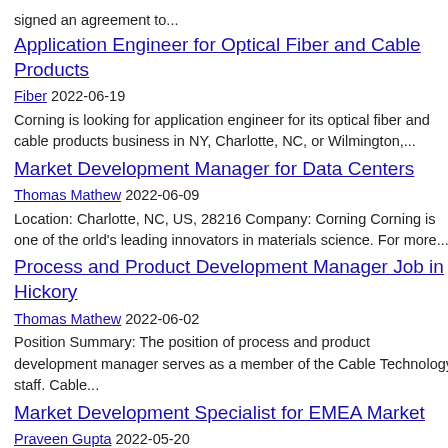signed an agreement to...
Application Engineer for Optical Fiber and Cable Products
Fiber 2022-06-19
Corning is looking for application engineer for its optical fiber and cable products business in NY, Charlotte, NC, or Wilmington,...
Market Development Manager for Data Centers
Thomas Mathew 2022-06-09
Location: Charlotte, NC, US, 28216 Company: Corning Corning is one of the orld's leading innovators in materials science. For more...
Process and Product Development Manager Job in Hickory
Thomas Mathew 2022-06-02
Position Summary: The position of process and product development manager serves as a member of the Cable Technology staff. Cable...
Market Development Specialist for EMEA Market
Praveen Gupta 2022-05-20